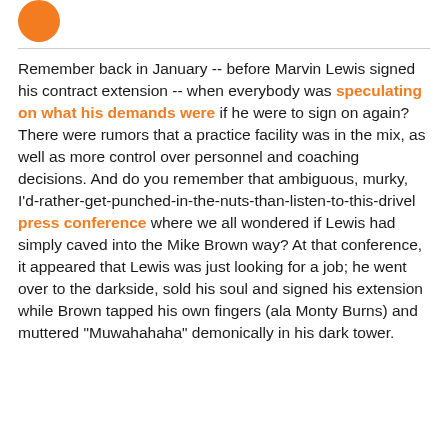[Figure (logo): Orange circular logo partially visible at top left]
Remember back in January -- before Marvin Lewis signed his contract extension -- when everybody was speculating on what his demands were if he were to sign on again? There were rumors that a practice facility was in the mix, as well as more control over personnel and coaching decisions. And do you remember that ambiguous, murky, I'd-rather-get-punched-in-the-nuts-than-listen-to-this-drivel press conference where we all wondered if Lewis had simply caved into the Mike Brown way? At that conference, it appeared that Lewis was just looking for a job; he went over to the darkside, sold his soul and signed his extension while Brown tapped his own fingers (ala Monty Burns) and muttered "Muwahahaha" demonically in his dark tower.